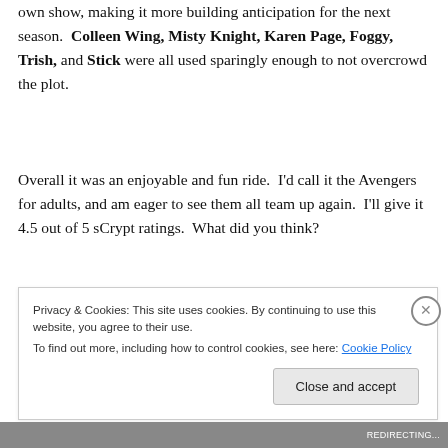own show, making it more building anticipation for the next season. Colleen Wing, Misty Knight, Karen Page, Foggy, Trish, and Stick were all used sparingly enough to not overcrowd the plot.
Overall it was an enjoyable and fun ride. I'd call it the Avengers for adults, and am eager to see them all team up again. I'll give it 4.5 out of 5 sCrypt ratings. What did you think?
Privacy & Cookies: This site uses cookies. By continuing to use this website, you agree to their use. To find out more, including how to control cookies, see here: Cookie Policy
REDIRECTING...